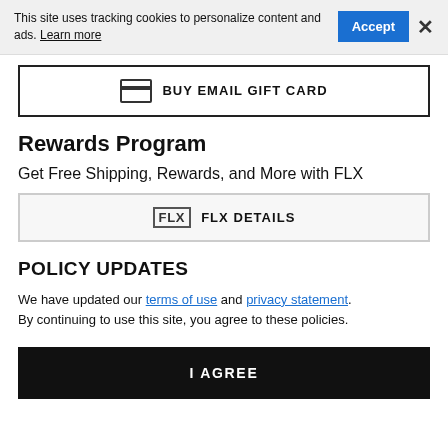This site uses tracking cookies to personalize content and ads. Learn more
Accept
×
BUY EMAIL GIFT CARD
Rewards Program
Get Free Shipping, Rewards, and More with FLX
FLX DETAILS
POLICY UPDATES
We have updated our terms of use and privacy statement. By continuing to use this site, you agree to these policies.
I AGREE